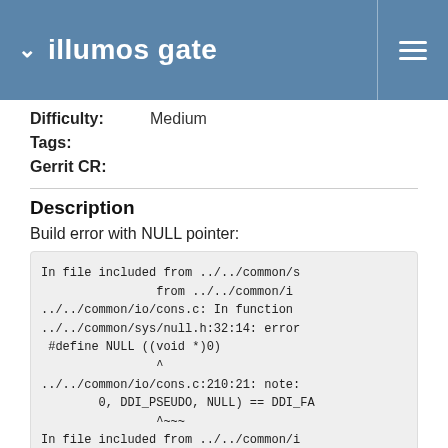illumos gate
Difficulty: Medium
Tags:
Gerrit CR:
Description
Build error with NULL pointer:
In file included from ../../common/s
                from ../../common/i
../../common/io/cons.c: In function
../../common/sys/null.h:32:14: error
 #define NULL ((void *)0)
                ^
../../common/io/cons.c:210:21: note:
        0, DDI_PSEUDO, NULL) == DDI_FA
                ^~~~
In file included from ../../common/i